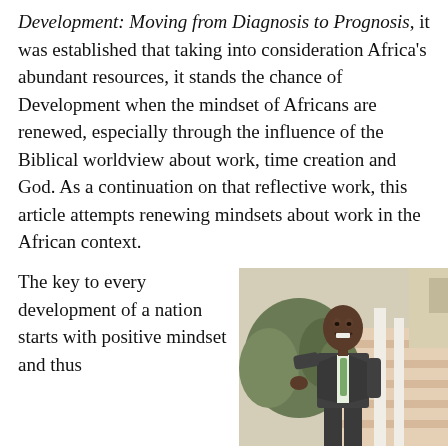Development: Moving from Diagnosis to Prognosis, it was established that taking into consideration Africa's abundant resources, it stands the chance of Development when the mindset of Africans are renewed, especially through the influence of the Biblical worldview about work, time creation and God. As a continuation on that reflective work, this article attempts renewing mindsets about work in the African context.
The key to every development of a nation starts with positive mindset and thus
[Figure (photo): A smiling man in a dark grey suit with a light green tie, standing on outdoor steps with white railings and greenery in the background.]